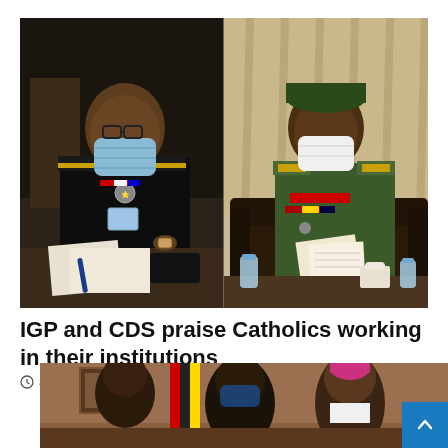[Figure (photo): Two-panel composite photo: left panel shows a police officer in black uniform and blue face mask seated at a desk with papers and a pen; right panel shows a military officer in green camouflage uniform and white face mask seated in a leather chair reading documents, with water bottles visible on the table.]
IGP and CDS praise Catholics working in their institutions
Jul 10, 2020
[Figure (photo): Partial photo at bottom of page showing people in formal attire including a figure in a pink/magenta bishop's cap, in what appears to be an indoor meeting setting.]